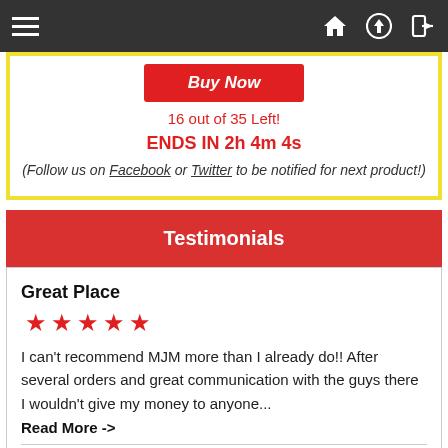Navigation bar with hamburger menu, home, upload, and login icons
Buy Now
16 out of 35 Left!
ENDS IN 2h 4m 4s
(Follow us on Facebook or Twitter to be notified for next product!)
Testimonials
Great Place
★★★★★
I can't recommend MJM more than I already do!! After several orders and great communication with the guys there I wouldn't give my money to anyone...
Read More ->